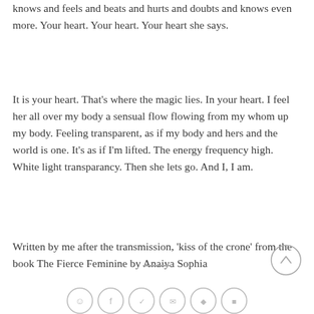knows and feels and beats and hurts and doubts and knows even more. Your heart. Your heart. Your heart she says.
It is your heart. That's where the magic lies. In your heart. I feel her all over my body a sensual flow flowing from my whom up my body. Feeling transparent, as if my body and hers and the world is one. It's as if I'm lifted. The energy frequency high. White light transparancy. Then she lets go. And I, I am.
Written by me after the transmission, 'kiss of the crone' from the book The Fierce Feminine by Anaiya Sophia